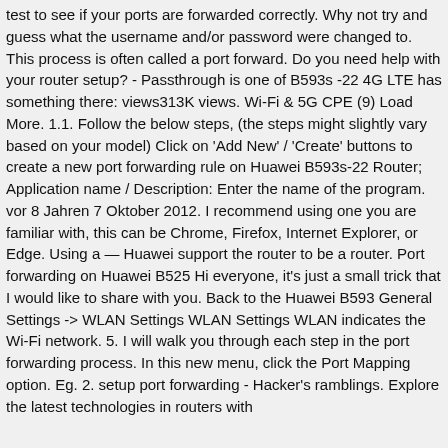test to see if your ports are forwarded correctly. Why not try and guess what the username and/or password were changed to. This process is often called a port forward. Do you need help with your router setup? - Passthrough is one of B593s -22 4G LTE has something there: views313K views. Wi-Fi & 5G CPE (9) Load More. 1.1. Follow the below steps, (the steps might slightly vary based on your model) Click on 'Add New' / 'Create' buttons to create a new port forwarding rule on Huawei B593s-22 Router; Application name / Description: Enter the name of the program. vor 8 Jahren 7 Oktober 2012. I recommend using one you are familiar with, this can be Chrome, Firefox, Internet Explorer, or Edge. Using a — Huawei support the router to be a router. Port forwarding on Huawei B525 Hi everyone, it's just a small trick that I would like to share with you. Back to the Huawei B593 General Settings -> WLAN Settings WLAN Settings WLAN indicates the Wi-Fi network. 5. I will walk you through each step in the port forwarding process. In this new menu, click the Port Mapping option. Eg. 2. setup port forwarding - Hacker's ramblings. Explore the latest technologies in routers with